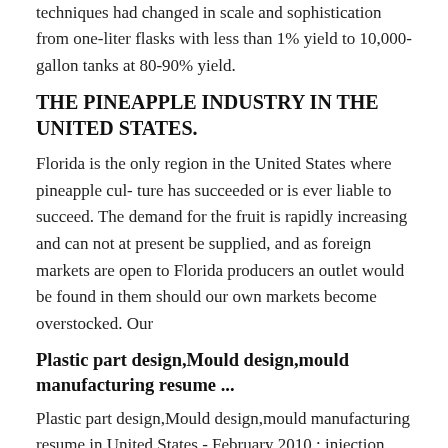techniques had changed in scale and sophistication from one-liter flasks with less than 1% yield to 10,000-gallon tanks at 80-90% yield.
THE PINEAPPLE INDUSTRY IN THE UNITED STATES.
Florida is the only region in the United States where pineapple cul- ture has succeeded or is ever liable to succeed. The demand for the fruit is rapidly increasing and can not at present be supplied, and as foreign markets are open to Florida producers an outlet would be found in them should our own markets become overstocked. Our
Plastic part design,Mould design,mould manufacturing resume ...
Plastic part design,Mould design,mould manufacturing resume in United States - February 2010 : injection, molding, mold, die, catia, v5, toyota, design engineer, cnc, gm